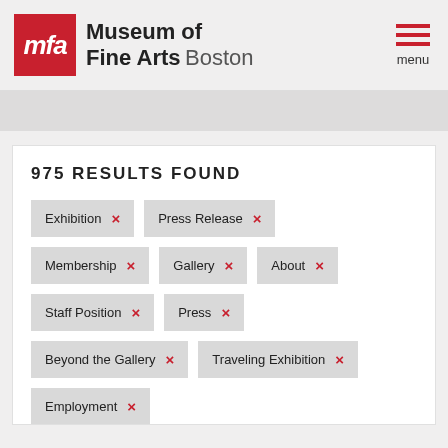[Figure (logo): Museum of Fine Arts Boston logo with red MFA box and text]
menu
975 RESULTS FOUND
Exhibition ×
Press Release ×
Membership ×
Gallery ×
About ×
Staff Position ×
Press ×
Beyond the Gallery ×
Traveling Exhibition ×
Employment ×